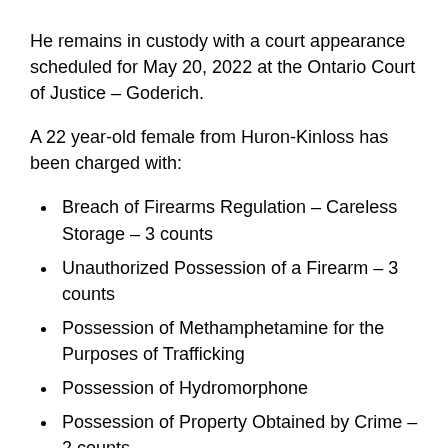He remains in custody with a court appearance scheduled for May 20, 2022 at the Ontario Court of Justice – Goderich.
A 22 year-old female from Huron-Kinloss has been charged with:
Breach of Firearms Regulation – Careless Storage – 3 counts
Unauthorized Possession of a Firearm – 3 counts
Possession of Methamphetamine for the Purposes of Trafficking
Possession of Hydromorphone
Possession of Property Obtained by Crime – 2 counts
The accused has since been released from court with a court appearance scheduled for June 20, 2022 at the Ontario Court of Justice – Goderich.